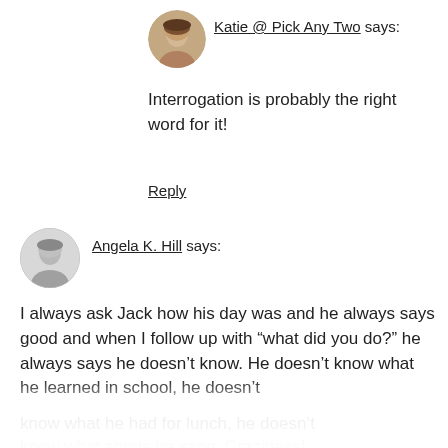[Figure (photo): Round avatar photo of Katie, a woman with light brown hair]
Katie @ Pick Any Two says:
Interrogation is probably the right word for it!
Reply
[Figure (photo): Round black and white avatar photo of Angela K. Hill, showing a child]
Angela K. Hill says:
I always ask Jack how his day was and he always says good and when I follow up with “what did you do?” he always says he doesn’t know. He doesn’t know what he learned in school, he doesn’t know what he had for lunch, he doesn’t know what songs he sang. Craziness!